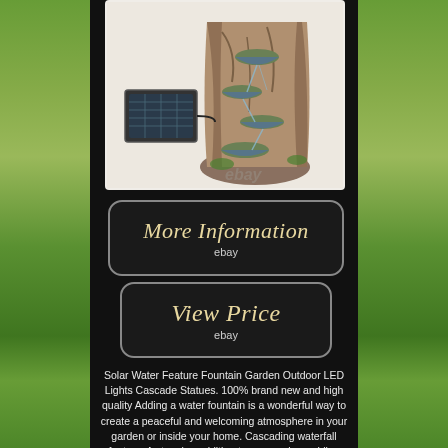[Figure (photo): Solar water feature fountain with tree stump design and LED lights, shown with a separate solar panel. The fountain has multiple tiers with cascading water bowls. Watermark 'ebay' visible. Background is white/light gray.]
More Information
ebay
View Price
ebay
Solar Water Feature Fountain Garden Outdoor LED Lights Cascade Statues. 100% brand new and high quality Adding a water fountain is a wonderful way to create a peaceful and welcoming atmosphere in your garden or inside your home. Cascading waterfall feature; A stunning addition to any garden, adding elegance and style The sound and sight of trickling water is naturally soothing and water fountains can be used in both outdoor and indoor settings to help